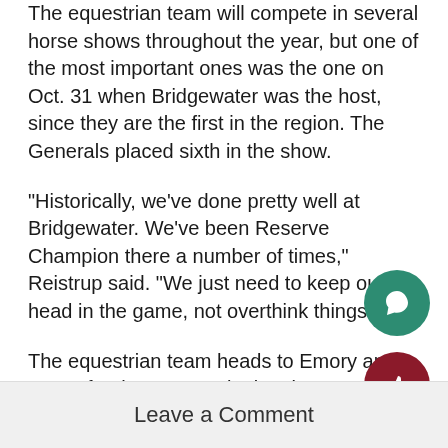The equestrian team will compete in several horse shows throughout the year, but one of the most important ones was the one on Oct. 31 when Bridgewater was the host, since they are the first in the region. The Generals placed sixth in the show.
“Historically, we’ve done pretty well at Bridgewater. We’ve been Reserve Champion there a number of times,” Reistrup said. “We just need to keep our head in the game, not overthink things.”
The equestrian team heads to Emory and Henry for the IHSA Invitational on Nov. 14.
ODAC
Riding
Leave a Comment